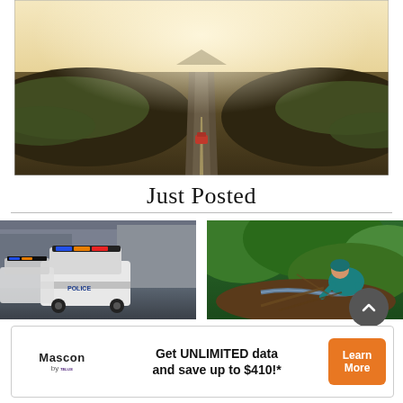[Figure (photo): Aerial view of a long straight road cutting through dark volcanic landscape, a red car visible on the road, bright hazy horizon in the background]
Just Posted
[Figure (photo): Two police SUV vehicles on a street with emergency lights on]
[Figure (photo): Person in blue jacket crouching by a stream in green bushy terrain]
[Figure (other): Advertisement banner: Mascon by TELUS logo on left, text 'Get UNLIMITED data and save up to $410!*' in center, orange 'Learn More' button on right]